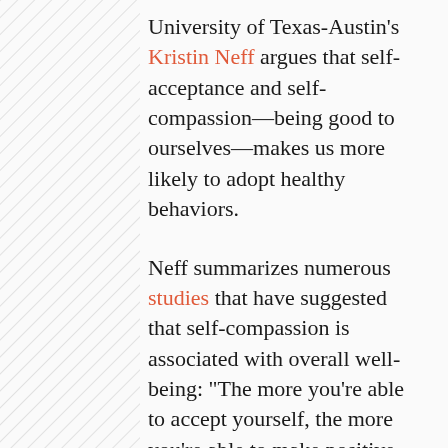University of Texas-Austin's Kristin Neff argues that self-acceptance and self-compassion—being good to ourselves—makes us more likely to adopt healthy behaviors.
Neff summarizes numerous studies that have suggested that self-compassion is associated with overall well-being: "The more you're able to accept yourself, the more you're able to make positive, healthy changes in your life."
The most important relationship you'll ever have is the relationship with yourself. Learn to pay attention